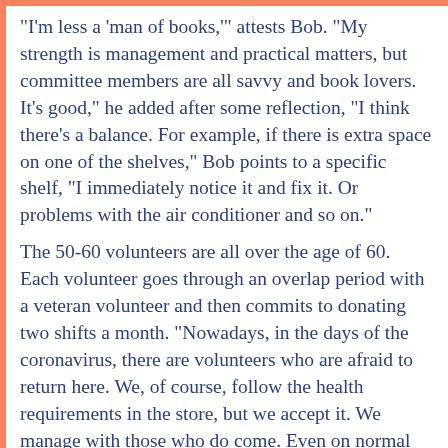"I'm less a 'man of books,'" attests Bob. "My strength is management and practical matters, but committee members are all savvy and book lovers. It's good," he added after some reflection, "I think there's a balance. For example, if there is extra space on one of the shelves," Bob points to a specific shelf, "I immediately notice it and fix it. Or problems with the air conditioner and so on."
The 50-60 volunteers are all over the age of 60. Each volunteer goes through an overlap period with a veteran volunteer and then commits to donating two shifts a month. "Nowadays, in the days of the coronavirus, there are volunteers who are afraid to return here. We, of course, follow the health requirements in the store, but we accept it. We manage with those who do come. Even on normal days, there are always those who are not available